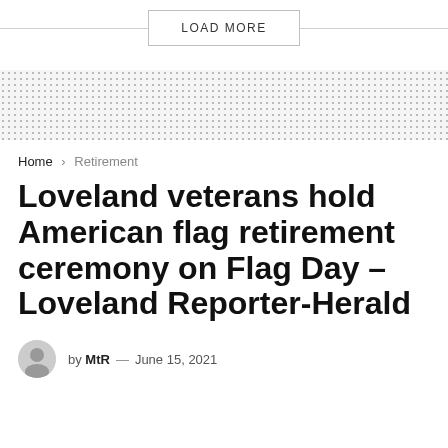LOAD MORE
[Figure (other): Dotted pattern background divider]
Home > Retirement
Loveland veterans hold American flag retirement ceremony on Flag Day – Loveland Reporter-Herald
by MtR — June 15, 2021